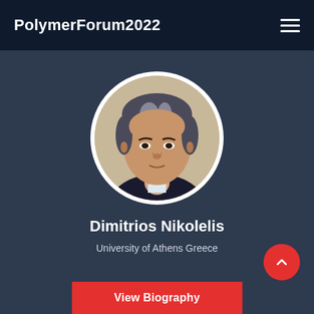PolymerForum2022
[Figure (photo): Circular profile photo of Dimitrios Nikolelis, a middle-aged man with short grey-streaked dark hair, wearing a dark jacket.]
Dimitrios Nikolelis
University of Athens Greece
View Biography